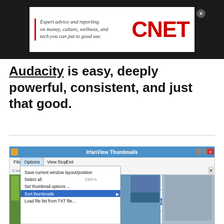[Figure (screenshot): CNET advertisement banner with italic text 'Expert advice and reporting on money, culture, wellness, and tech you can put to good use.' next to large red CNET logo on white background, set against dark background. Close button in corner.]
Audacity is easy, deeply powerful, consistent, and just that good.
[Figure (screenshot): IrfanView Thumbnails application window showing Options menu expanded with submenu: Save current window layout/position, Select all (Ctrl+A), Set thumbnail options..., Sort thumbnails (with arrow showing submenu: by Name, by Name (natural/logic order), by Date...), Load file list from TXT file.... Background shows thumbnail images of landscapes.]